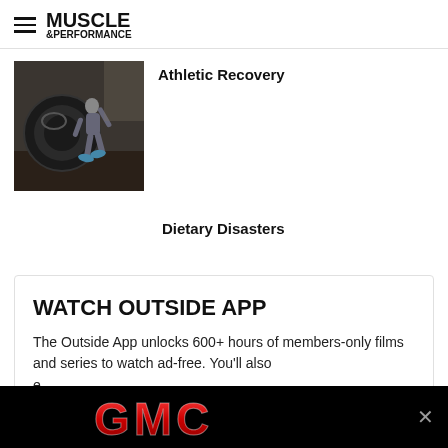MUSCLE &PERFORMANCE
Athletic Recovery
[Figure (photo): Person flipping a large tire in a gym setting]
Dietary Disasters
WATCH OUTSIDE APP
The Outside App unlocks 600+ hours of members-only films and series to watch ad-free. You'll also e... th...
[Figure (logo): GMC advertisement banner with red GMC logo on black background]